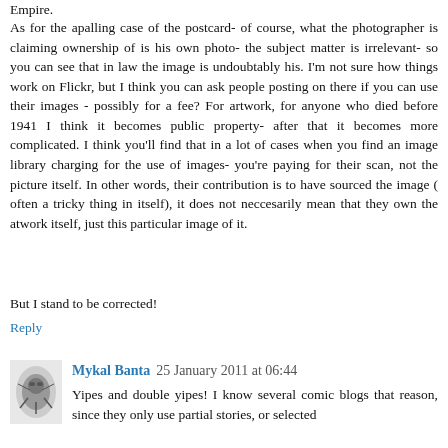Empire.
As for the apalling case of the postcard- of course, what the photographer is claiming ownership of is his own photo- the subject matter is irrelevant- so you can see that in law the image is undoubtably his. I'm not sure how things work on Flickr, but I think you can ask people posting on there if you can use their images - possibly for a fee? For artwork, for anyone who died before 1941 I think it becomes public property- after that it becomes more complicated. I think you'll find that in a lot of cases when you find an image library charging for the use of images- you're paying for their scan, not the picture itself. In other words, their contribution is to have sourced the image ( often a tricky thing in itself), it does not neccesarily mean that they own the atwork itself, just this particular image of it.
But I stand to be corrected!
Reply
Mykal Banta 25 January 2011 at 06:44
Yipes and double yipes! I know several comic blogs that reason, since they only use partial stories, or selected